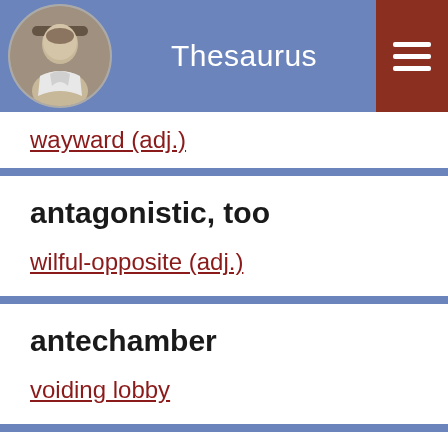Thesaurus
wayward (adj.)
antagonistic, too
wilful-opposite (adj.)
antechamber
voiding lobby
ante-room